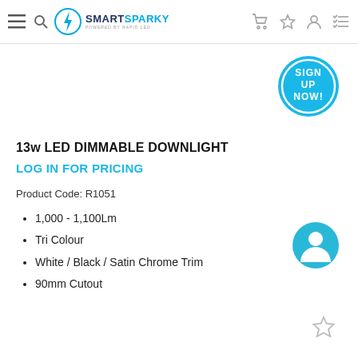SmartSparky — powered by Rapid LED
[Figure (logo): SmartSparky logo with lightning bolt circle icon and text SMARTSPARKY powered by RAPID LED]
[Figure (infographic): Blue circle badge with text SIGN UP NOW!]
13w LED DIMMABLE DOWNLIGHT
LOG IN FOR PRICING
Product Code: R1051
1,000 - 1,100Lm
Tri Colour
White / Black / Satin Chrome Trim
90mm Cutout
[Figure (illustration): Teal circle with person/user icon]
[Figure (illustration): Grey star outline icon at bottom right]